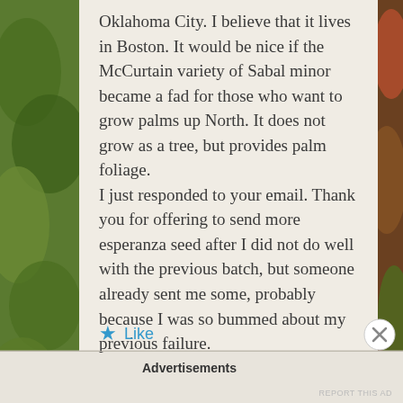[Figure (photo): Background photo of green and red foliage/plants on left and right sides of the page, with a light cream content card in the center-right area.]
Oklahoma City. I believe that it lives in Boston. It would be nice if the McCurtain variety of Sabal minor became a fad for those who want to grow palms up North. It does not grow as a tree, but provides palm foliage.
I just responded to your email. Thank you for offering to send more esperanza seed after I did not do well with the previous batch, but someone already sent me some, probably because I was so bummed about my previous failure.
Like
Advertisements